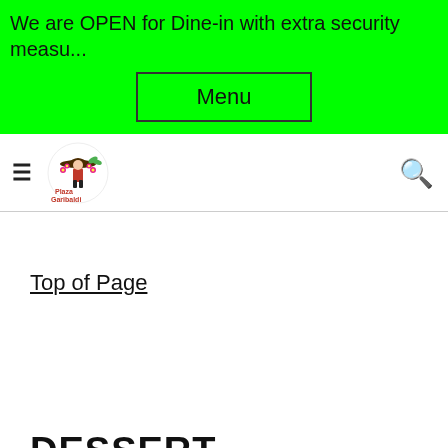We are OPEN for Dine-in with extra security measu...
Menu
[Figure (logo): Plaza Garibaldi restaurant logo with a character wearing a sombrero and floral decorations]
Top of Page
DESSERT